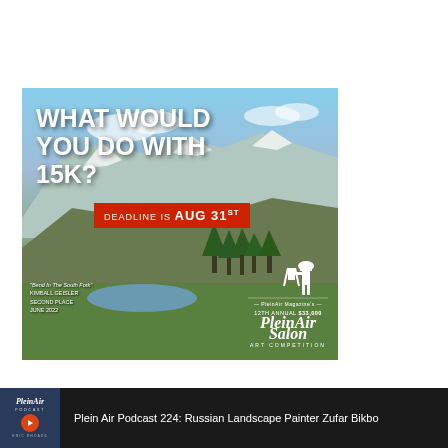[Figure (illustration): PleinAir Salon Art Competition advertisement banner. Mountain landscape painting background with sky, snowy peaks, and green valley with river. White bold headline 'WHAT WOULD YOU DO WITH 15K?'. Red badge reading 'DEADLINE IS AUG 31ST'. Bottom left caption for painting credit. Bottom right PleinAir Salon logo with artist figure silhouette and text '12TH ANNUAL $33,000 PleinAir Salon ART COMPETITION'.]
[Figure (screenshot): Dark bottom bar showing podcast player UI. Left side: PleinAir podcast thumbnail with logo, orange play button, and host name 'ERIC RHOADS'. Right side white text: 'Plein Air Podcast 224: Russian Landscape Painter Zufar Bikbo']